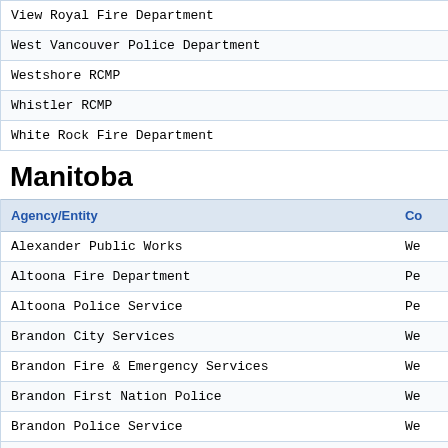| Agency/Entity | Co... |
| --- | --- |
| View Royal Fire Department |  |
| West Vancouver Police Department |  |
| Westshore RCMP |  |
| Whistler RCMP |  |
| White Rock Fire Department |  |
Manitoba
| Agency/Entity | Co... |
| --- | --- |
| Alexander Public Works | We... |
| Altoona Fire Department | Pe... |
| Altoona Police Service | Pe... |
| Brandon City Services | We... |
| Brandon Fire & Emergency Services | We... |
| Brandon First Nation Police | We... |
| Brandon Police Service | We... |
| Brokenhead Fire Department | Ea... |
| Brokenhead First Nation | Ea... |
| Canada Border Services Agency | Pr... |
| Carman Fire Department | Pe... |